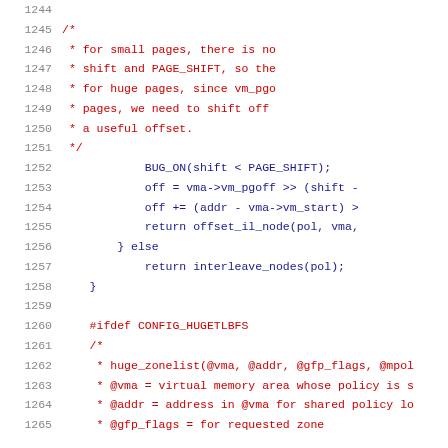Source code listing, lines 1244-1265, C kernel code with comments
1244 (empty)
1245     /*
1246      * for small pages, there is no
1247      * shift and PAGE_SHIFT, so the
1248      * for huge pages, since vm_pgo
1249      * pages, we need to shift off
1250      * a useful offset.
1251      */
1252         BUG_ON(shift < PAGE_SHIFT);
1253         off = vma->vm_pgoff >> (shift -
1254         off += (addr - vma->vm_start) >
1255         return offset_il_node(pol, vma,
1256     } else
1257         return interleave_nodes(pol);
1258 }
1259 (empty)
1260 #ifdef CONFIG_HUGETLBFS
1261 /*
1262  * huge_zonelist(@vma, @addr, @gfp_flags, @mpol
1263  * @vma = virtual memory area whose policy is s
1264  * @addr = address in @vma for shared policy lo
1265  * @gfp_flags = for requested zone